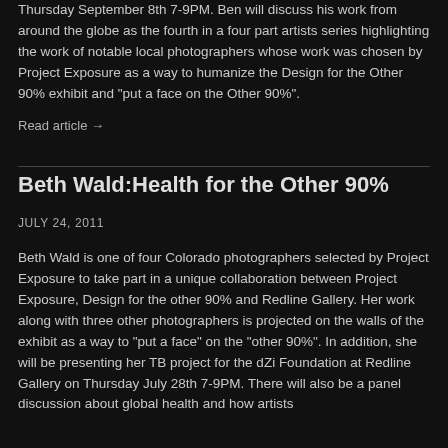Thursday September 8th 7-9PM. Ben will discuss his work from around the globe as the fourth in a four part artists series highlighting the work of notable local photographers whose work was chosen by Project Exposure as a way to humanize the Design for the Other 90% exhibit and “put a face on the Other 90%”.
Read article →
Beth Wald:Health for the Other 90%
JULY 24, 2011
Beth Wald is one of four Colorado photographers selected by Project Exposure to take part in a unique collaboration between Project Exposure, Design for the other 90% and Redline Gallery. Her work along with three other photographers is projected on the walls of the exhibit as a way to “put a face” on the “other 90%”. In addition, she will be presenting her TB project for the dZi Foundation at Redline Gallery on Thursday July 28th 7-9PM. There will also be a panel discussion about global health and how artists